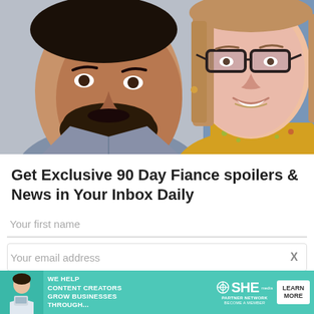[Figure (photo): Selfie photo of a man with beard and a woman wearing glasses and a yellow floral top, close-up faces filling the frame]
Get Exclusive 90 Day Fiance spoilers & News in Your Inbox Daily
Your first name
Your email address
[Figure (infographic): Advertisement banner: SHE Partner Network - We help content creators grow businesses through... Learn More]